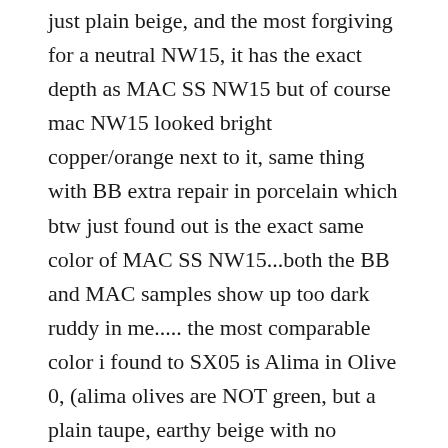just plain beige, and the most forgiving for a neutral NW15, it has the exact depth as MAC SS NW15 but of course mac NW15 looked bright copper/orange next to it, same thing with BB extra repair in porcelain which btw just found out is the exact same color of MAC SS NW15...both the BB and MAC samples show up too dark ruddy in me..... the most comparable color i found to SX05 is Alima in Olive 0, (alima olives are NOT green, but a plain taupe, earthy beige with no undertones) being the SX05 just a teensie lighter, but only noticeable if you reeeeally stare at both swatches and very next to each other.
Then at the store I swatched: SX04: this has a strong and bright warm apricot type of yellow (golden) undertone, in the depth of an NC20, obviously way darker and warmer than SX05 (think a lighter